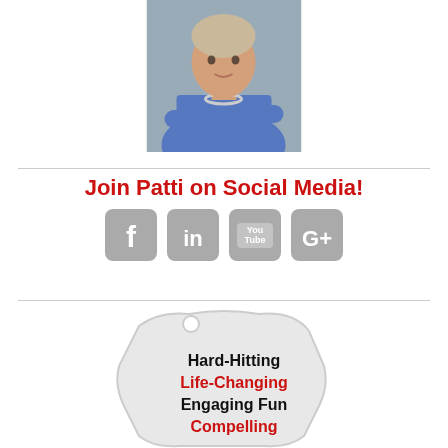[Figure (photo): Woman in blue blazer with arms crossed, wearing a silver necklace, professional headshot photo]
Join Patti on Social Media!
[Figure (infographic): Social media icons: Facebook, LinkedIn, YouTube, Google+]
[Figure (infographic): Tag/banner shape with text: Hard-Hitting, Life-Changing, Engaging Fun, Compelling]